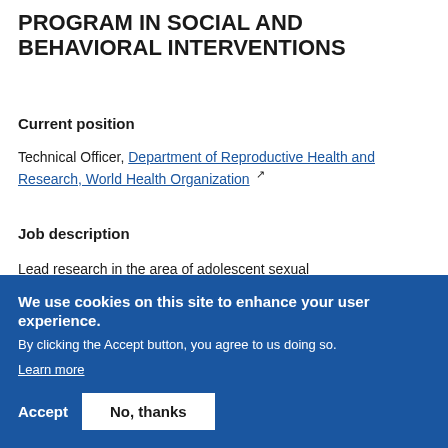PROGRAM IN SOCIAL AND BEHAVIORAL INTERVENTIONS
Current position
Technical Officer, Department of Reproductive Health and Research, World Health Organization
Job description
Lead research in the area of adolescent sexual...
We use cookies on this site to enhance your user experience. By clicking the Accept button, you agree to us doing so. Learn more
Accept
No, thanks